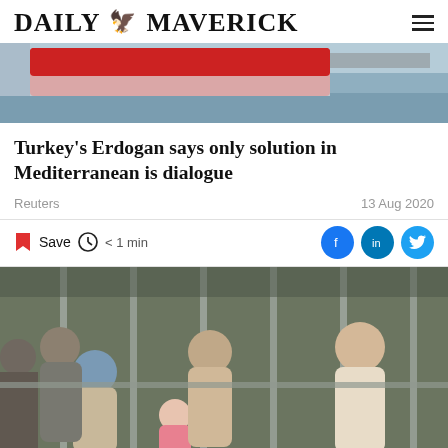DAILY MAVERICK
[Figure (photo): Top portion of a boat/ship on grey water]
Turkey's Erdogan says only solution in Mediterranean is dialogue
Reuters   13 Aug 2020
Save  < 1 min
[Figure (photo): Crowd of migrants including children behind metal barriers/fencing]